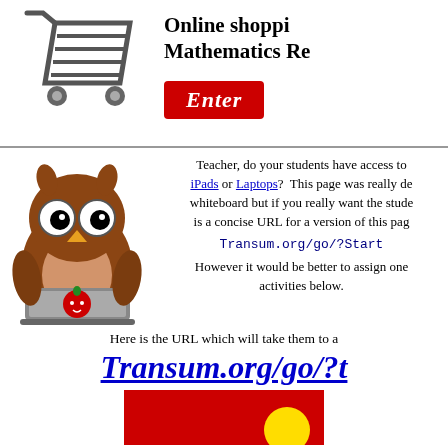[Figure (illustration): Shopping cart icon in grey/dark]
Online shopping Mathematics Re...
[Figure (illustration): Red Enter button]
[Figure (illustration): Owl with laptop cartoon]
Teacher, do your students have access to iPads or Laptops? This page was really designed for a whiteboard but if you really want the students to use it there is a concise URL for a version of this page...
Transum.org/go/?Start
However it would be better to assign one of the activities below.
Here is the URL which will take them to a...
Transum.org/go/?t
[Figure (screenshot): Red box preview at bottom of page]